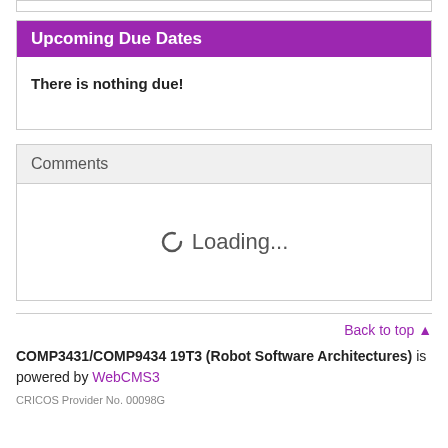Upcoming Due Dates
There is nothing due!
Comments
Loading...
Back to top ▲
COMP3431/COMP9434 19T3 (Robot Software Architectures) is powered by WebCMS3
CRICOS Provider No. 00098G